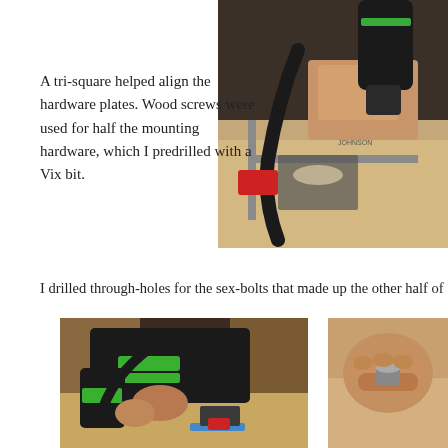A tri-square helped align the hardware plates. Wood screws were used for half the mounting hardware, which I predrilled with a Vix bit.
[Figure (photo): Close-up photo of a person using a drill and a tri-square (L-shaped metal ruler) on a wooden surface with mounting hardware. A black hose/cord is visible along with a red tool in the background.]
I drilled through-holes for the sex-bolts that made up the other half of
[Figure (photo): Photo of a person using a green and black Festool drill on a wooden surface with blue tape markings and mounting hardware.]
[Figure (photo): Close-up photo of a person's hands holding a small metal bolt or fastener.]